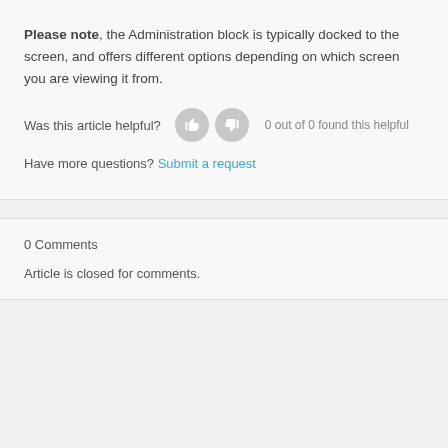Please note, the Administration block is typically docked to the screen, and offers different options depending on which screen you are viewing it from.
Was this article helpful?   0 out of 0 found this helpful
Have more questions? Submit a request
0 Comments
Article is closed for comments.